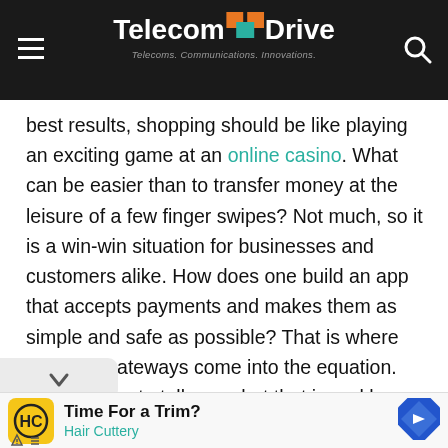TelecomDrive — Telecoms. Communications. Innovations.
best results, shopping should be like playing an exciting game at an online casino. What can be easier than to transfer money at the leisure of a few finger swipes? Not much, so it is a win-win situation for businesses and customers alike. How does one build an app that accepts payments and makes them as simple and safe as possible? That is where payment gateways come into the equation. We are here to tell you what that is and how you can implement it in your mobile app design.
[Figure (screenshot): Advertisement banner for Hair Cuttery showing logo, 'Time For a Trim?' title, and navigation arrow icon]